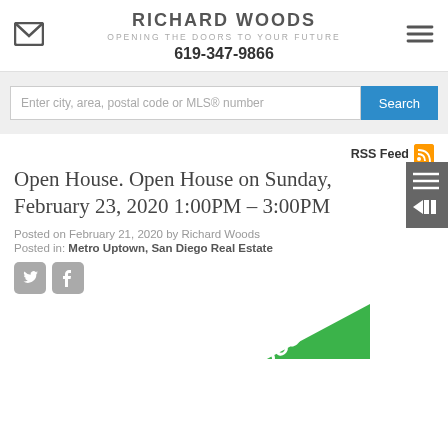RICHARD WOODS
OPENING THE DOORS TO YOUR FUTURE
619-347-9866
Enter city, area, postal code or MLS® number
RSS Feed
Open House. Open House on Sunday, February 23, 2020 1:00PM - 3:00PM
Posted on February 21, 2020 by Richard Woods
Posted in: Metro Uptown, San Diego Real Estate
[Figure (illustration): Green open house banner/ribbon partially visible at bottom of page]